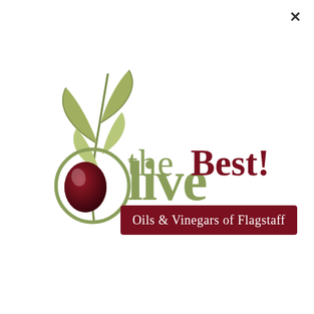[Figure (logo): Olive the Best – Oils & Vinegars of Flagstaff logo featuring an olive branch with leaves, a dark red olive, and stylized text with a dark red banner.]